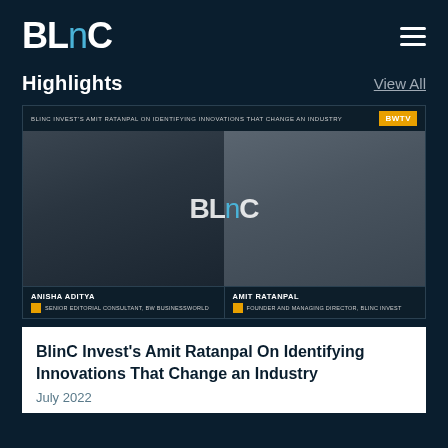BLinC
Highlights
View All
[Figure (screenshot): Video thumbnail showing a BlinC Invest TV interview. Top bar reads: BLINC INVEST'S AMIT RATANPAL ON IDENTIFYING INNOVATIONS THAT CHANGE AN INDUSTRY. BWTV badge top right. Two participants visible: left panel shows Anisha Aditya (woman, dark clothing), right panel shows Amit Ratanpal (man, white shirt). BLinC logo watermark overlaid center. Bottom bar shows: ANISHA ADITYA / SENIOR EDITORIAL CONSULTANT, BW BUSINESSWORLD and AMIT RATANPAL / FOUNDER AND MANAGING DIRECTOR, BLINC INVEST.]
BlinC Invest's Amit Ratanpal On Identifying Innovations That Change an Industry
July 2022